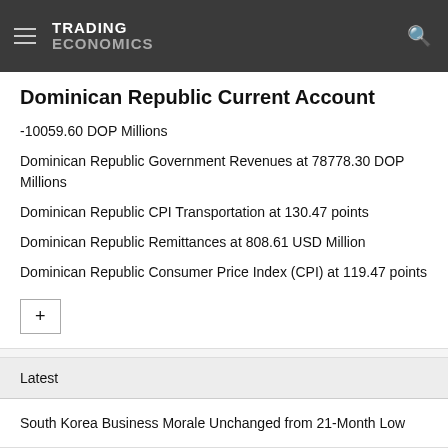TRADING ECONOMICS
Dominican Republic Current Account
-10059.60 DOP Millions
Dominican Republic Government Revenues at 78778.30 DOP Millions
Dominican Republic CPI Transportation at 130.47 points
Dominican Republic Remittances at 808.61 USD Million
Dominican Republic Consumer Price Index (CPI) at 119.47 points
Latest
South Korea Business Morale Unchanged from 21-Month Low